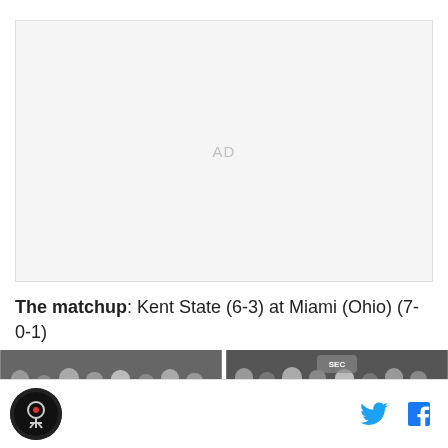[Figure (other): Advertisement placeholder area with 'AD' label]
The matchup: Kent State (6-3) at Miami (Ohio) (7-0-1)
[Figure (photo): Two side-by-side black and white crowd/sports photos]
Site logo and social media icons (Twitter, Facebook)